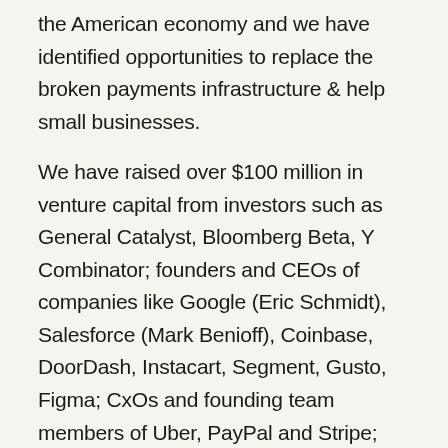the American economy and we have identified opportunities to replace the broken payments infrastructure & help small businesses.
We have raised over $100 million in venture capital from investors such as General Catalyst, Bloomberg Beta, Y Combinator; founders and CEOs of companies like Google (Eric Schmidt), Salesforce (Mark Benioff), Coinbase, DoorDash, Instacart, Segment, Gusto, Figma; CxOs and founding team members of Uber, PayPal and Stripe; angels like Elad Gil, Naval Ravikant, Gokul Rajaram; and ESG funds such as Climate Capital, Human Capital, Leadout among others.
Our founding team has backgrounds working on autonomous vehicles at Cruise Automation, leading ops and growth for Uber, engineering at Amazon, building